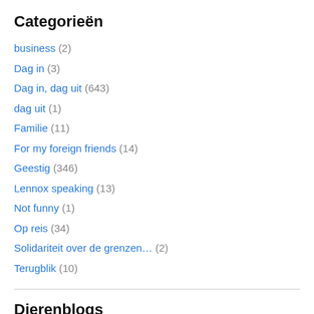Categorieën
business (2)
Dag in (3)
Dag in, dag uit (643)
dag uit (1)
Familie (11)
For my foreign friends (14)
Geestig (346)
Lennox speaking (13)
Not funny (1)
Op reis (34)
Solidariteit over de grenzen… (2)
Terugblik (10)
Dierenblogs
Airedale terriërs van 't Asbroek
Islay